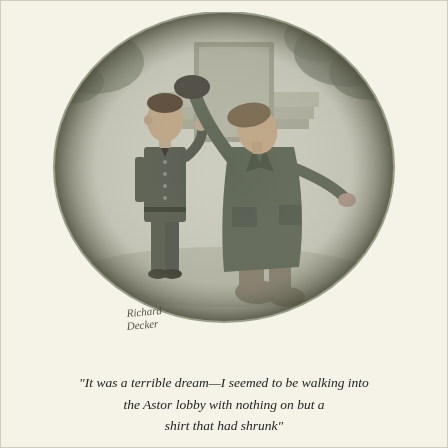[Figure (illustration): A circular vignette illustration signed 'Richard Decker' showing two figures: a slim man in a uniform or suit standing upright on the left, and a larger person in a long coat on the right appearing distressed or dramatic, arms raised, against a background with steps and foliage.]
"It was a terrible dream—I seemed to be walking into the Astor lobby with nothing on but a shirt that had shrunk"